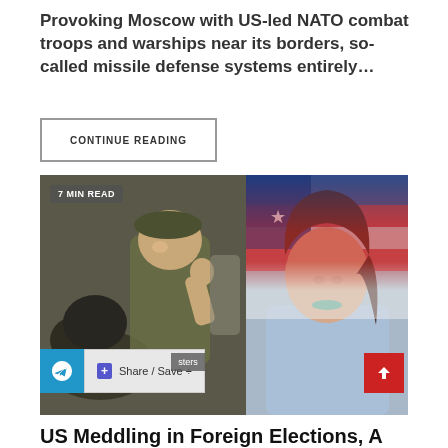Provoking Moscow with US-led NATO combat troops and warships near its borders, so-called missile defense systems entirely…
CONTINUE READING
[Figure (photo): Split image: left side shows a young soldier smiling with a dog giving a thumbs up; right side shows a woman in front of an American flag. Badge reads '7 MIN READ'.]
Share / Save
US Meddling in Foreign Elections, A CIA...